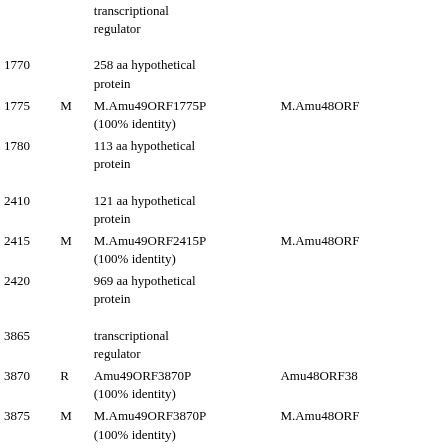| ORF | Type | Description | Homolog |
| --- | --- | --- | --- |
|  |  | transcriptional regulator |  |
| 1770 |  | 258 aa hypothetical protein |  |
| 1775 | M | M.Amu49ORF1775P (100% identity) | M.Amu48ORF... |
| 1780 |  | 113 aa hypothetical protein |  |
| 2410 |  | 121 aa hypothetical protein |  |
| 2415 | M | M.Amu49ORF2415P (100% identity) | M.Amu48ORF... |
| 2420 |  | 969 aa hypothetical protein |  |
| 3865 |  | transcriptional regulator |  |
| 3870 | R | Amu49ORF3870P (100% identity) | Amu48ORF38... |
| 3875 | M | M.Amu49ORF3870P (100% identity) | M.Amu48ORF... |
| 3880 |  | IS1595 family transposase |  |